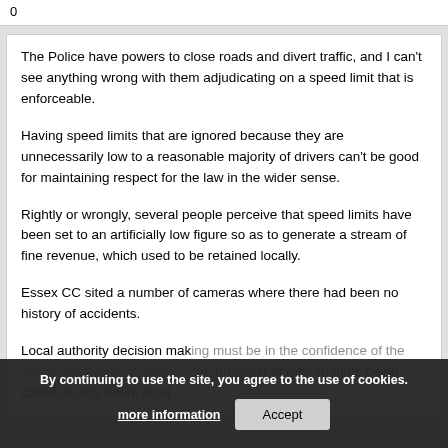0
The Police have powers to close roads and divert traffic, and I can't see anything wrong with them adjudicating on a speed limit that is enforceable.
Having speed limits that are ignored because they are unnecessarily low to a reasonable majority of drivers can't be good for maintaining respect for the law in the wider sense.
Rightly or wrongly, several people perceive that speed limits have been set to an artificially low figure so as to generate a stream of fine revenue, which used to be retained locally.
Essex CC sited a number of cameras where there had been no history of accidents.
Local authority decision making must be in the confidence of the public, especially as there is the prospect at referendums being called on any future local decision.
By continuing to use the site, you agree to the use of cookies.
more information
Accept